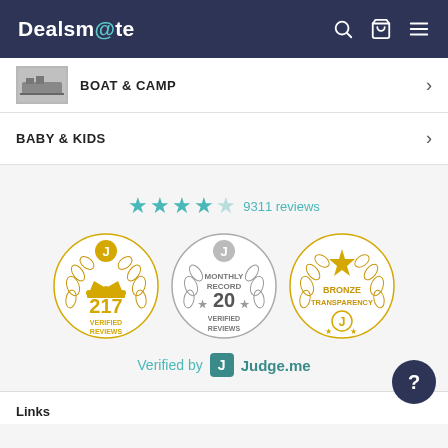Dealsmate
BOAT & CAMP
BABY & KIDS
9311 reviews
[Figure (infographic): Three Judge.me badges: 217 Verified Reviews, Monthly Record 20 Verified Reviews, Bronze Transparency]
Verified by Judge.me
Links